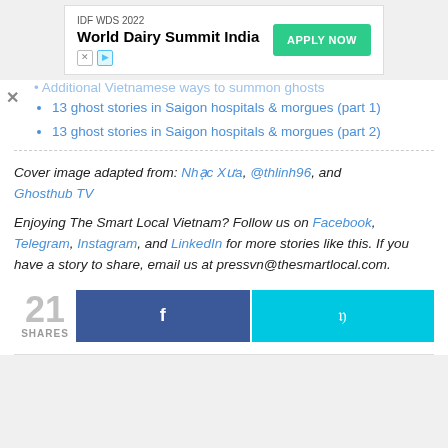[Figure (other): Advertisement banner for IDF WDS 2022 World Dairy Summit India with an Apply Now button]
Additional Vietnamese ways to summon ghosts (partially visible, cut off)
13 ghost stories in Saigon hospitals & morgues (part 1)
13 ghost stories in Saigon hospitals & morgues (part 2)
Cover image adapted from: Nhạc Xưa, @thlinh96, and Ghosthub TV
Enjoying The Smart Local Vietnam? Follow us on Facebook, Telegram, Instagram, and LinkedIn for more stories like this. If you have a story to share, email us at pressvn@thesmartlocal.com.
[Figure (other): Social share buttons: 21 SHARES count, Facebook share button, Twitter share button]